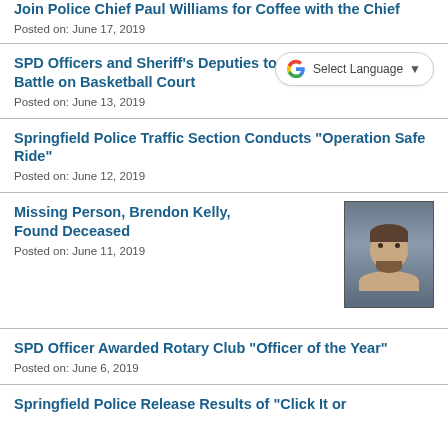Join Police Chief Paul Williams for Coffee with the Chief
Posted on: June 17, 2019
SPD Officers and Sheriff's Deputies to Battle on Basketball Court
Posted on: June 13, 2019
[Figure (other): Google Translate Select Language widget]
Springfield Police Traffic Section Conducts "Operation Safe Ride"
Posted on: June 12, 2019
Missing Person, Brendon Kelly, Found Deceased
Posted on: June 11, 2019
[Figure (photo): Mugshot photo of Brendon Kelly, a man with brown hair and beard]
SPD Officer Awarded Rotary Club "Officer of the Year"
Posted on: June 6, 2019
Springfield Police Release Results of "Click It or